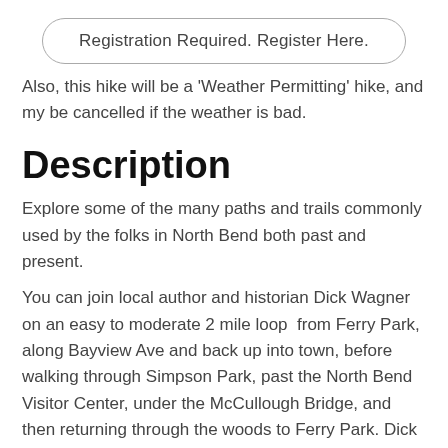Registration Required. Register Here.
Also, this hike will be a ‘Weather Permitting’ hike, and my be cancelled if the weather is bad.
Description
Explore some of the many paths and trails commonly used by the folks in North Bend both past and present.
You can join local author and historian Dick Wagner on an easy to moderate 2 mile loop  from Ferry Park, along Bayview Ave and back up into town, before walking through Simpson Park, past the North Bend Visitor Center, under the McCullough Bridge, and then returning through the woods to Ferry Park. Dick literally turns to the